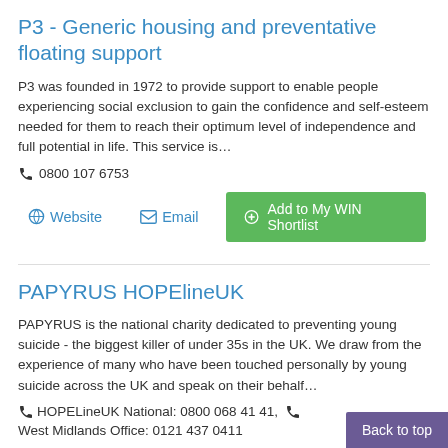P3 - Generic housing and preventative floating support
P3 was founded in 1972 to provide support to enable people experiencing social exclusion to gain the confidence and self-esteem needed for them to reach their optimum level of independence and full potential in life. This service is…
📞 0800 107 6753
Website | Email | Add to My WIN Shortlist
PAPYRUS HOPElineUK
PAPYRUS is the national charity dedicated to preventing young suicide - the biggest killer of under 35s in the UK. We draw from the experience of many who have been touched personally by young suicide across the UK and speak on their behalf…
📞 HOPELineUK National: 0800 068 41 41, 📞 West Midlands Office: 0121 437 0411
Back to top